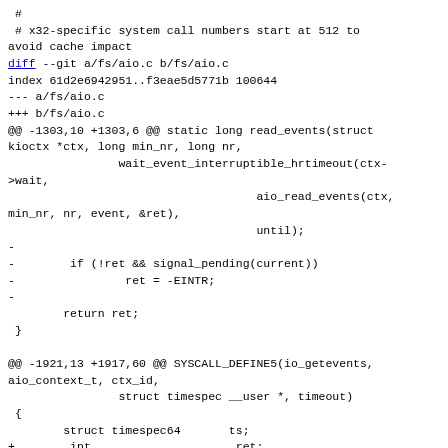#
 # x32-specific system call numbers start at 512 to avoid cache impact
diff --git a/fs/aio.c b/fs/aio.c
index 61d2e6942951..f3eae5d5771b 100644
--- a/fs/aio.c
+++ b/fs/aio.c
@@ -1303,10 +1303,6 @@ static long read_events(struct kioctx *ctx, long min_nr, long nr,
                     wait_event_interruptible_hrtimeout(ctx->wait,
                                         aio_read_events(ctx, min_nr, nr, event, &ret),
                                         until);
-
-        if (!ret && signal_pending(current))
-                ret = -EINTR;
-
        return ret;
 }

@@ -1921,13 +1917,60 @@ SYSCALL_DEFINE5(io_getevents, aio_context_t, ctx_id,
                     struct timespec __user *, timeout)
 {
        struct timespec64       ts;
+        int                     ret;
+
+        if (timeout && unlikely(get_timespec64(&ts,